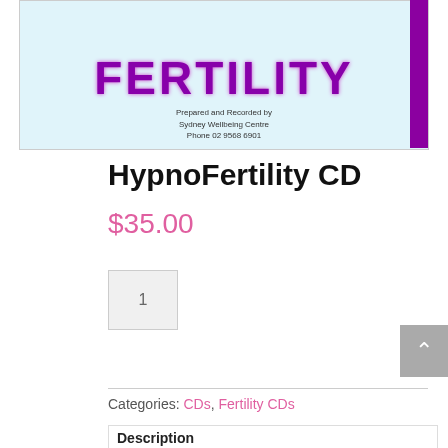[Figure (photo): Product image for HypnoFertility CD showing 'FERTILITY' text in large purple letters with a decorative nest/eggs illustration above, on a light blue background. Text reads 'Prepared and Recorded by Sydney Wellbeing Centre Phone 02 9568 6901'. Purple border on right side.]
HypnoFertility CD
$35.00
Categories: CDs, Fertility CDs
Description